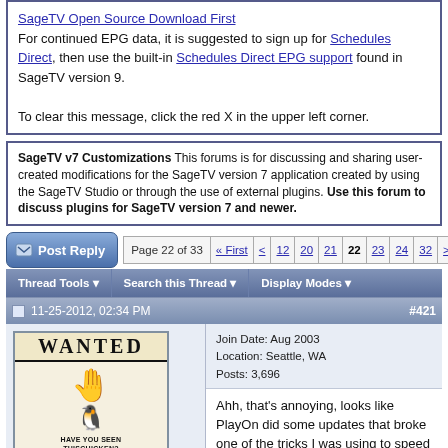For continued EPG data, it is suggested to sign up for Schedules Direct, then use the built-in Schedules Direct EPG support found in SageTV version 9.

To clear this message, click the red X in the upper left corner.
SageTV v7 Customizations This forums is for discussing and sharing user-created modifications for the SageTV version 7 application created by using the SageTV Studio or through the use of external plugins. Use this forum to discuss plugins for SageTV version 7 and newer.
Page 22 of 33  « First  <  12  20  21  22  23  24  32  >
Thread Tools ▼   Search this Thread ▼   Display Modes ▼
11-25-2012, 02:34 PM  #421
[Figure (illustration): User avatar showing a 'WANTED' poster style image with a cartoon penguin/chicken and text 'HAVE YOU SEEN THISCHICKEN?']
evilpenguin ● SageTVaholic
Join Date: Aug 2003
Location: Seattle, WA
Posts: 3,696
Ahh, that's annoying, looks like PlayOn did some updates that broke one of the tricks I was using to speed things up. I